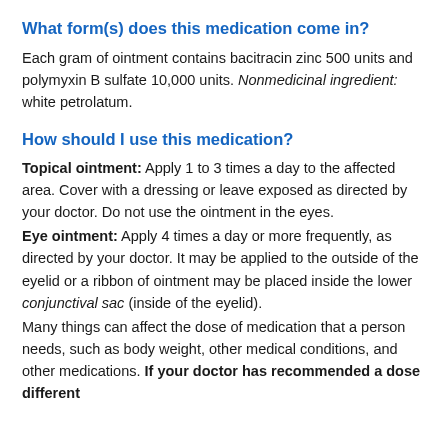What form(s) does this medication come in?
Each gram of ointment contains bacitracin zinc 500 units and polymyxin B sulfate 10,000 units. Nonmedicinal ingredient: white petrolatum.
How should I use this medication?
Topical ointment: Apply 1 to 3 times a day to the affected area. Cover with a dressing or leave exposed as directed by your doctor. Do not use the ointment in the eyes.
Eye ointment: Apply 4 times a day or more frequently, as directed by your doctor. It may be applied to the outside of the eyelid or a ribbon of ointment may be placed inside the lower conjunctival sac (inside of the eyelid).
Many things can affect the dose of medication that a person needs, such as body weight, other medical conditions, and other medications. If your doctor has recommended a dose different